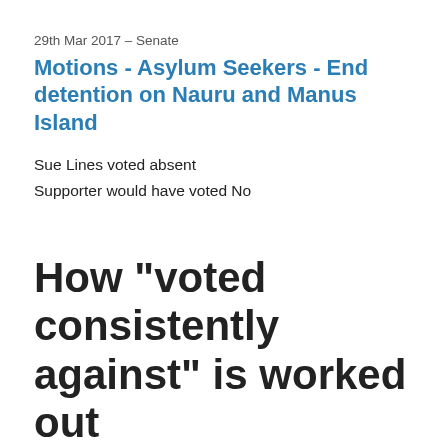29th Mar 2017 – Senate
Motions - Asylum Seekers - End detention on Nauru and Manus Island
Sue Lines voted absent
Supporter would have voted No
How "voted consistently against" is worked out
They Vote For You gives each vote a score based on whether the MP voted in agreement with the